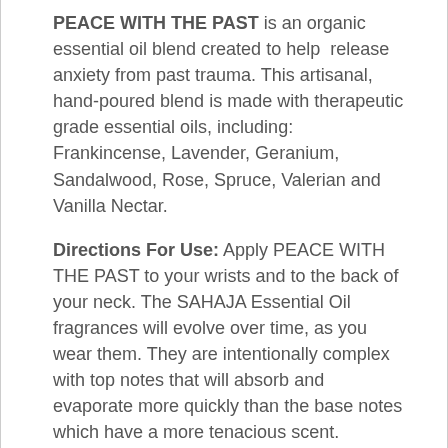PEACE WITH THE PAST is an organic essential oil blend created to help release anxiety from past trauma. This artisanal, hand-poured blend is made with therapeutic grade essential oils, including: Frankincense, Lavender, Geranium, Sandalwood, Rose, Spruce, Valerian and Vanilla Nectar.
Directions For Use: Apply PEACE WITH THE PAST to your wrists and to the back of your neck. The SAHAJA Essential Oil fragrances will evolve over time, as you wear them. They are intentionally complex with top notes that will absorb and evaporate more quickly than the base notes which have a more tenacious scent. Reapply as often as desired. Due to the economical and spill-proof roll-on application system, your SAHAJA Essential Oil Blends will last a long time. Avoid getting the